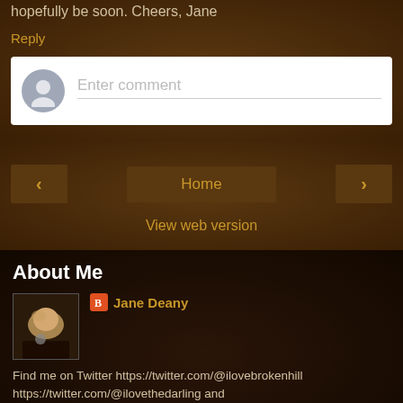hopefully be soon. Cheers, Jane
Reply
Enter comment
Home
View web version
About Me
Jane Deany
Find me on Twitter https://twitter.com/@ilovebrokenhill https://twitter.com/@ilovethedarling and https://twitter.com/@janedeany
View my complete profile
Powered by Blogger.